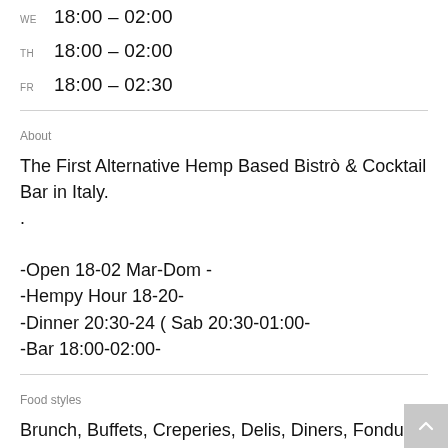WE  18:00 – 02:00
TH  18:00 – 02:00
FR  18:00 – 02:30
About
The First Alternative Hemp Based Bistrò & Cocktail Bar in Italy.
.

-Open 18-02 Mar-Dom -
-Hempy Hour 18-20-
-Dinner 20:30-24 ( Sab 20:30-01:00-
-Bar 18:00-02:00-
Food styles
Brunch, Buffets, Creperies, Delis, Diners, Fondue, Food Stands, Italian, Sandwiches, Vegan, Vegetarian
Restaurant
specialties